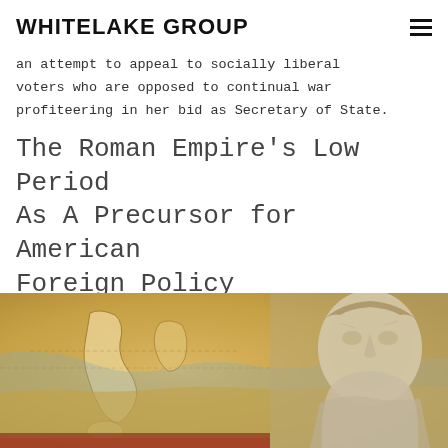WHITELAKE GROUP
an attempt to appeal to socially liberal voters who are opposed to continual war profiteering in her bid as Secretary of State.
The Roman Empire's Low Period As A Precursor for American Foreign Policy
[Figure (photo): Photograph showing an ancient Roman map of the Mediterranean region alongside a marble bust sculpture of a Roman figure, with warm golden-brown tones suggesting aged parchment and stone.]